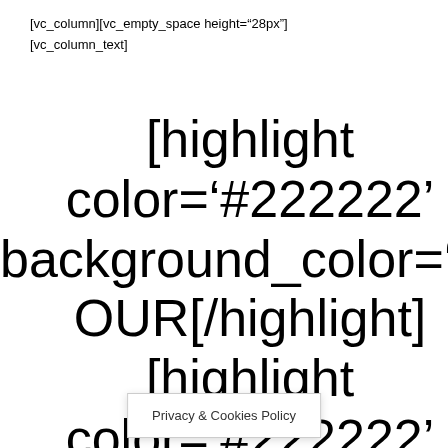[vc_column][vc_empty_space height="28px"]
[vc_column_text]
[highlight color='#222222' background_color='transp OUR[/highlight] [highlight color='#222222' background_color='transp RESIDENTS[/highlight] [h
Privacy & Cookies Policy